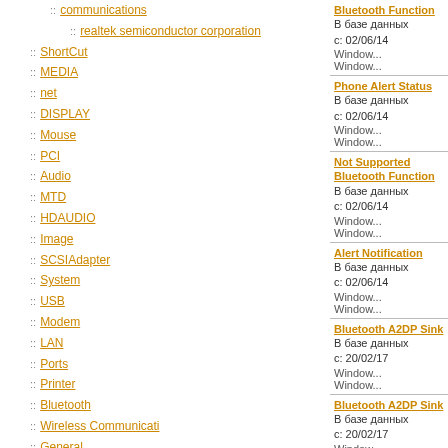communications
realtek semiconductor corporation
ShortCut
MEDIA
net
DISPLAY
Mouse
PCI
Audio
MTD
HDAUDIO
Image
SCSIAdapter
System
USB
Modem
LAN
Ports
Printer
Bluetooth
Wireless Communicati
General
Dot4Print
hda
Bluetooth Function
В базе данных с: 02/06/14
Windows
Windows
Phone Alert Status
В базе данных с: 02/06/14
Windows
Windows
Not Supported Bluetooth Function
В базе данных с: 02/06/14
Windows
Windows
Alert Notification
В базе данных с: 02/06/14
Windows
Windows
Bluetooth A2DP Sink
В базе данных с: 20/02/17
Windows
Windows
Bluetooth A2DP Sink
В базе данных с: 20/02/17
Windows
Windows
Bluetooth Advanced Remote Control Service
В базе данных с: 20/02/17
Windows
Windows
Bluetooth Handsfree
В базе данных с: 20/02/17
Windows
Windows
Bluetooth Advanced Remote Control Service
В базе данных с: 20/02/17
Windows
Windows
Bluetooth Headset
В базе данных с:
Windows
Windows